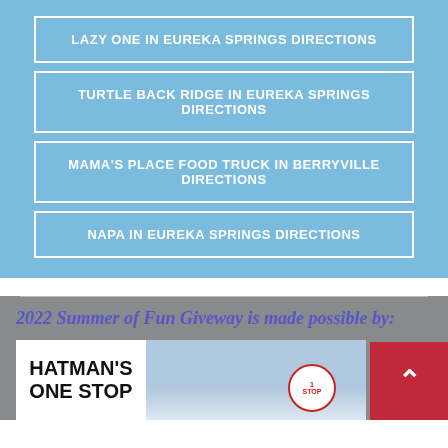LAZY ONE IN EUREKA SPRINGS DIRECTIONS
TURTLE BACK RIDGE IN EUREKA SPRINGS DIRECTIONS
MAMA'S PLACE FOOD TRUCK IN BERRYVILLE DIRECTIONS
NAPA IN EUREKA SPRINGS DIRECTIONS
2022 Summer of Fun Giveway is made possible by:
[Figure (photo): Hatman's One Stop logo and photo with red back-to-top button]